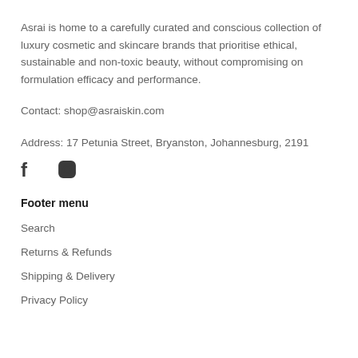Asrai is home to a carefully curated and conscious collection of luxury cosmetic and skincare brands that prioritise ethical, sustainable and non-toxic beauty, without compromising on formulation efficacy and performance.
Contact: shop@asraiskin.com
Address: 17 Petunia Street, Bryanston, Johannesburg, 2191
[Figure (other): Social media icons: Facebook (f) and Instagram (circle camera icon)]
Footer menu
Search
Returns & Refunds
Shipping & Delivery
Privacy Policy